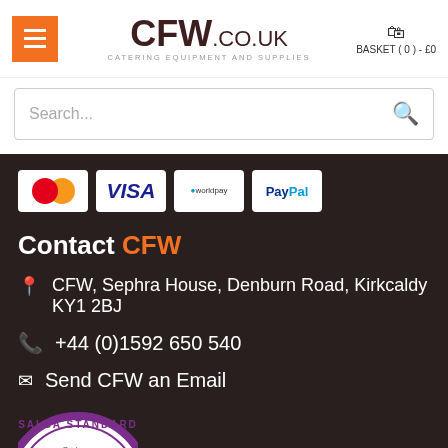[Figure (logo): CFW.co.uk logo - Catering Equipment and Supplies]
BASKET ( 0 ) - £0
Search...
[Figure (illustration): Payment method icons: Mastercard, VISA, Worldpay, PayPal]
Contact CFW
CFW, Sephra House, Denburn Road, Kirkcaldy KY1 2BJ
+44 (0)1592 650 540
Send CFW an Email
[Figure (logo): SALSA STANDARD badge/logo, partially visible]